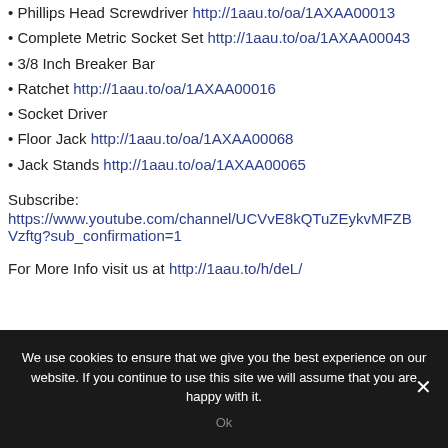• Phillips Head Screwdriver http://1aau.to/oa/1AXAA00013
• Complete Metric Socket Set http://1aau.to/oa/1AXAA00043
• 3/8 Inch Breaker Bar
• Ratchet http://1aau.to/oa/1AXAA00016
• Socket Driver
• Floor Jack http://1aau.to/oa/1AXAA00068
• Jack Stands http://1aau.to/oa/1AXAA00065
Subscribe:
https://www.youtube.com/channel/UCVvE8kQTuZEykvMFZBVzftg?sub_confirmation=1
For More Info visit us at http://1aau.to/h/deL/
We use cookies to ensure that we give you the best experience on our website. If you continue to use this site we will assume that you are happy with it.